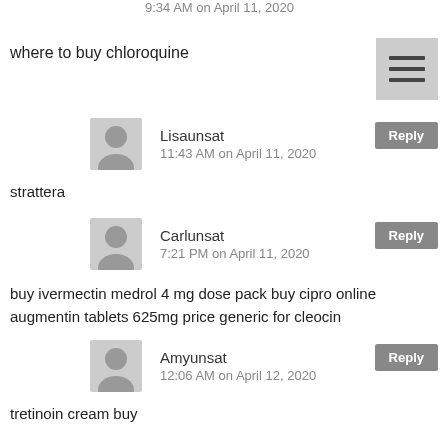9:34 AM on April 11, 2020
where to buy chloroquine
Lisaunsat
11:43 AM on April 11, 2020
strattera
Carlunsat
7:21 PM on April 11, 2020
buy ivermectin medrol 4 mg dose pack buy cipro online augmentin tablets 625mg price generic for cleocin
Amyunsat
12:06 AM on April 12, 2020
tretinoin cream buy
Eyeunsat
7:17 AM on April 12, 2020
hydroxychloroquine buy hydroxychloroquine online chloroquine over the counter hydroxychloroquine over the counter chloroquine chloroquine for sale purchase hydroxychloroquine chloroquine buy